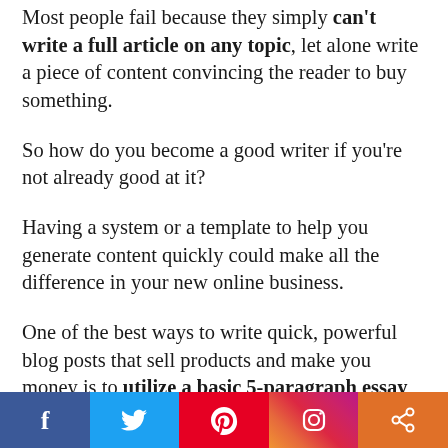Most people fail because they simply can't write a full article on any topic, let alone write a piece of content convincing the reader to buy something.
So how do you become a good writer if you're not already good at it?
Having a system or a template to help you generate content quickly could make all the difference in your new online business.
One of the best ways to write quick, powerful blog posts that sell products and make you money is to utilize a basic 5-paragraph essay format. Did you learn the five paragraph essay in high school? This format